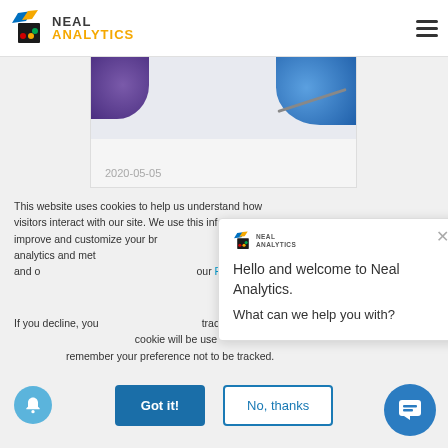Neal Analytics
[Figure (screenshot): Partial card image with purple circle on left and blue circle on right, date 2020-05-05]
This website uses cookies to help us understand how visitors interact with our site. We use this information to improve and customize your browsing experience and for analytics and metrics about our visitors both on this website and other media. To find out more, see our Privacy Policy
If you decline, your information won't be tracked when you visit this website. A single cookie will be used in your browser to remember your preference not to be tracked.
Hello and welcome to Neal Analytics. What can we help you with?
Got it!
No, thanks